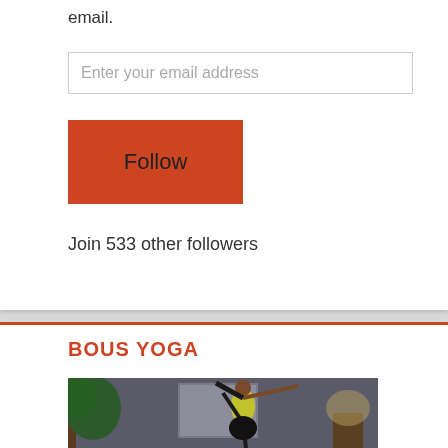email.
Enter your email address
Follow
Join 533 other followers
BOUS YOGA
[Figure (photo): A person (woman in yellow top and black pants/skirt) doing a yoga pose with arms outstretched, standing in a room with a plant on the left and a lamp on the right, against a grey wall with a grey/silver abstract painting.]